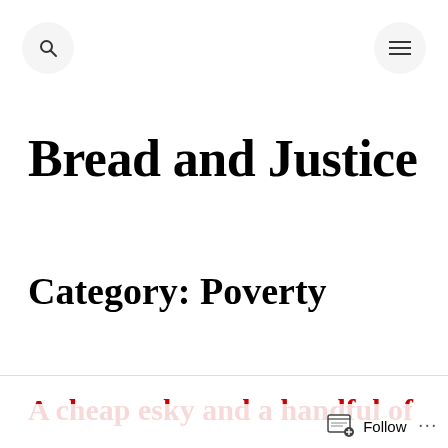Bread and Justice
Bread and Justice
Category: Poverty
A cheap esky and a handful of
Follow